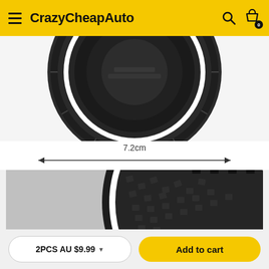CrazyCheapAuto
[Figure (photo): Top view of a round black silicone car cup holder coaster with textured surface and white ring accent, showing its circular design from above.]
[Figure (engineering-diagram): Measurement annotation showing 7.2cm width with a double-headed arrow below the coaster image.]
[Figure (photo): Close-up photo of the edge of the black silicone car cup holder coaster showing the white ring and textured diamond pattern surface.]
2PCS AU $9.99
Add to cart